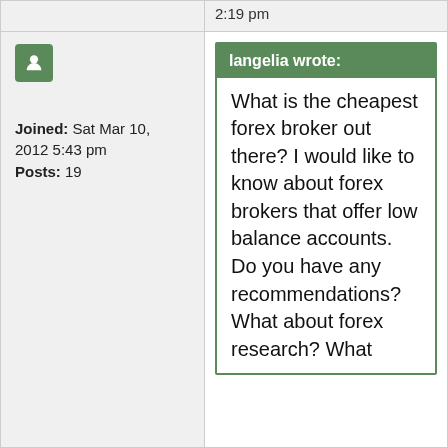| [partial top row] | 2:19 pm |
| Joined: Sat Mar 10, 2012 5:43 pm
Posts: 19 | langelia wrote:
What is the cheapest forex broker out there? I would like to know about forex brokers that offer low balance accounts. Do you have any recommendations? What about forex research? What ... |